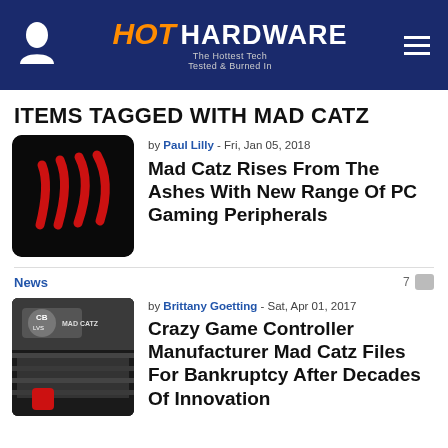HotHardware - The Hottest Tech Tested & Burned In
ITEMS TAGGED WITH MAD CATZ
[Figure (illustration): Mad Catz logo: black square with red claw scratch marks]
by Paul Lilly - Fri, Jan 05, 2018
Mad Catz Rises From The Ashes With New Range Of PC Gaming Peripherals
News   7
[Figure (photo): Black and white photo of a gaming event/esports arena with Mad Catz branding visible, crowd in the stands]
by Brittany Goetting - Sat, Apr 01, 2017
Crazy Game Controller Manufacturer Mad Catz Files For Bankruptcy After Decades Of Innovation